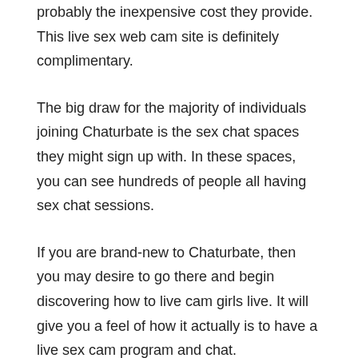probably the inexpensive cost they provide. This live sex web cam site is definitely complimentary.
The big draw for the majority of individuals joining Chaturbate is the sex chat spaces they might sign up with. In these spaces, you can see hundreds of people all having sex chat sessions.
If you are brand-new to Chaturbate, then you may desire to go there and begin discovering how to live cam girls live. It will give you a feel of how it actually is to have a live sex cam program and chat.
Another thing to consider when picking among the websites that provide Chaturbate live sex web cams is to find the very best features for your personal requirements. If you simply wish to enjoy individuals, then there are many types of Chaturbate webcams that only allow one webcam lady. But if you want more than just one woman, then you will have to select one cam that permits multiple people in the area and the connection.